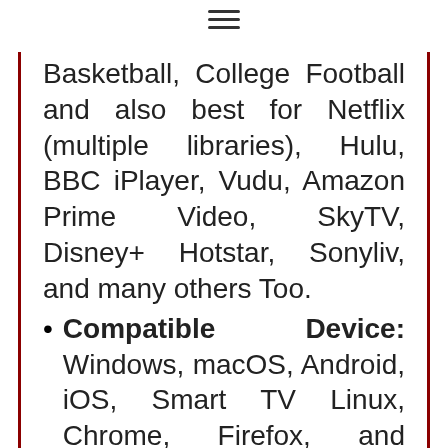≡
Basketball, College Football and also best for Netflix (multiple libraries), Hulu, BBC iPlayer, Vudu, Amazon Prime Video, SkyTV, Disney+ Hotstar, Sonyliv, and many others Too.
Compatible Device: Windows, macOS, Android, iOS, Smart TV Linux, Chrome, Firefox, and routers
Data logging: Strict no-logs policy